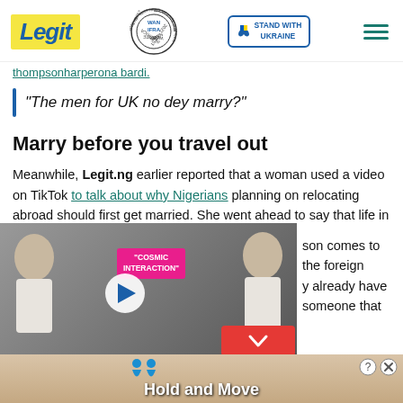Legit | WAN IFRA 2021 Best News Website in Africa | Stand with Ukraine
thompsonharperona bardi.
"The men for UK no dey marry?"
Marry before you travel out
Meanwhile, Legit.ng earlier reported that a woman used a video on TikTok to talk about why Nigerians planning on relocating abroad should first get married. She went ahead to say that life in the UK is easier for couples than single
[Figure (screenshot): Embedded video player showing two people (man and woman) with a pink overlay label reading 'COSMIC INTERVENTION' and a play button]
son comes to the foreign
y already have someone that
[Figure (screenshot): Advertisement banner with blue figures and text 'Hold and Move' on a sandy background]